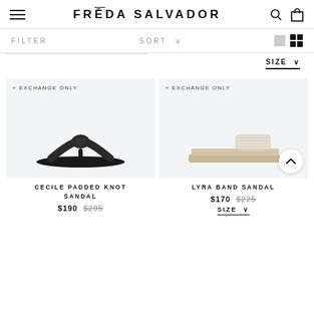FRĒDA SALVADOR
FILTER   SORT ∨
SIZE ∨
+ EXCHANGE ONLY
CECILE PADDED KNOT SANDAL
$190  $295
[Figure (photo): Black flip-flop sandal with padded knot strap on light gray background]
+ EXCHANGE ONLY
LYRA BAND SANDAL
$170  $225
[Figure (photo): Cream/white slide sandal with padded velcro strap on light gray background]